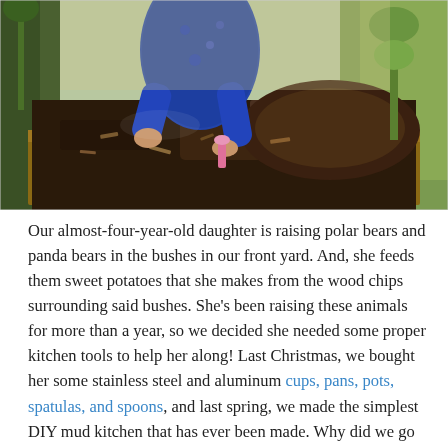[Figure (photo): A child in a blue floral outfit digging in a raised garden bed filled with dark soil and wood chips, using a small pink trowel. There are plants visible in the background.]
Our almost-four-year-old daughter is raising polar bears and panda bears in the bushes in our front yard. And, she feeds them sweet potatoes that she makes from the wood chips surrounding said bushes. She's been raising these animals for more than a year, so we decided she needed some proper kitchen tools to help her along! Last Christmas, we bought her some stainless steel and aluminum cups, pans, pots, spatulas, and spoons, and last spring, we made the simplest DIY mud kitchen that has ever been made. Why did we go to such lengths to encourage this play? Besides simply being an amazing